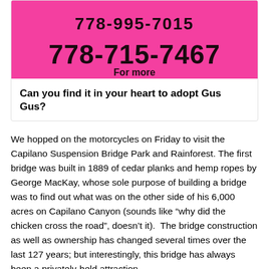[Figure (photo): A pink sign with black handwritten text showing a phone number: 778-995-7015 / 778-715-7467 and text 'For more' at the bottom]
Can you find it in your heart to adopt Gus Gus?
We hopped on the motorcycles on Friday to visit the Capilano Suspension Bridge Park and Rainforest. The first bridge was built in 1889 of cedar planks and hemp ropes by George MacKay, whose sole purpose of building a bridge was to find out what was on the other side of his 6,000 acres on Capilano Canyon (sounds like “why did the chicken cross the road”, doesn’t it). The bridge construction as well as ownership has changed several times over the last 127 years; but interestingly, this bridge has always been a privately-held attraction.